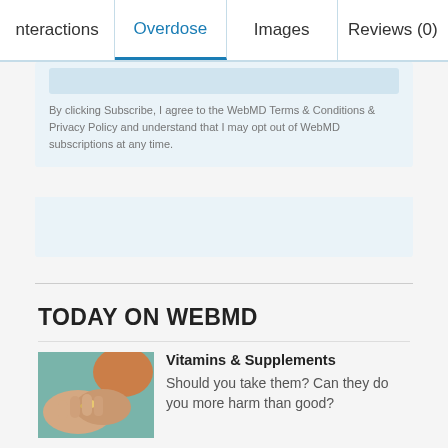nteractions | Overdose | Images | Reviews (0)
By clicking Subscribe, I agree to the WebMD Terms & Conditions & Privacy Policy and understand that I may opt out of WebMD subscriptions at any time.
TODAY ON WEBMD
[Figure (photo): Hands holding pills or vitamins]
Vitamins & Supplements
Should you take them? Can they do you more harm than good?
ADVERTISEMENT